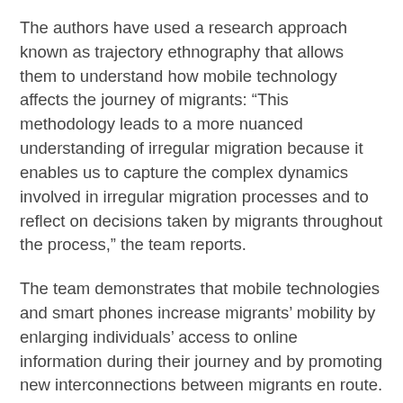The authors have used a research approach known as trajectory ethnography that allows them to understand how mobile technology affects the journey of migrants: “This methodology leads to a more nuanced understanding of irregular migration because it enables us to capture the complex dynamics involved in irregular migration processes and to reflect on decisions taken by migrants throughout the process,” the team reports.
The team demonstrates that mobile technologies and smart phones increase migrants’ mobility by enlarging individuals’ access to online information during their journey and by promoting new interconnections between migrants en route. Migrants try to build contacts with migrants who have already completed the journey, as the information given by them is considered more trustworthy.
Nevertheless, the availability of a smart phone is not a panacea that will always assist a migrant in crossing borders safely or reaching the intended destination. “Differences in educational background, digital literacy and foreign language skills have an important effect on migrants’ ability to actually